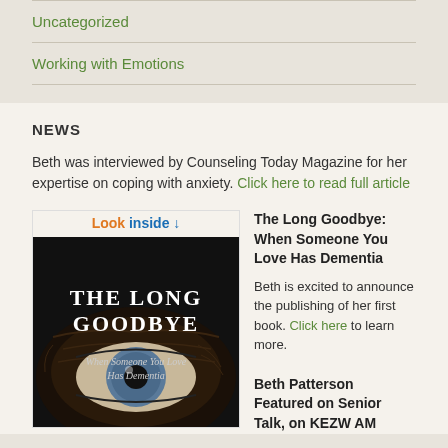Uncategorized
Working with Emotions
NEWS
Beth was interviewed by Counseling Today Magazine for her expertise on coping with anxiety. Click here to read full article
[Figure (photo): Book cover of 'The Long Goodbye: When Someone You Love Has Dementia' with a close-up photo of an elderly person's eye, with 'Look inside' banner at top]
The Long Goodbye: When Someone You Love Has Dementia
Beth is excited to announce the publishing of her first book. Click here to learn more.
Beth Patterson Featured on Senior Talk, on KEZW AM